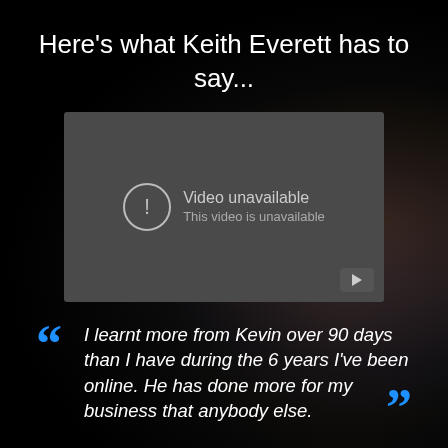Here's what Keith Everett has to say...
[Figure (screenshot): Embedded video player showing 'Video unavailable — This video is unavailable' error message with a YouTube play button in the bottom right corner.]
I learnt more from Kevin over 90 days than I have during the 6 years I've been online. He has done more for my business that anybody else.